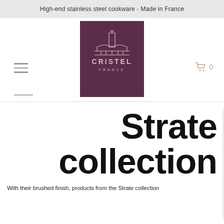High-end stainless steel cookware - Made in France
[Figure (logo): CRISTEL FRANCE logo — white architectural/bridge illustration with brand name on dark maroon/purple square background]
Strate collection
With their brushed finish, products from the Strate collection